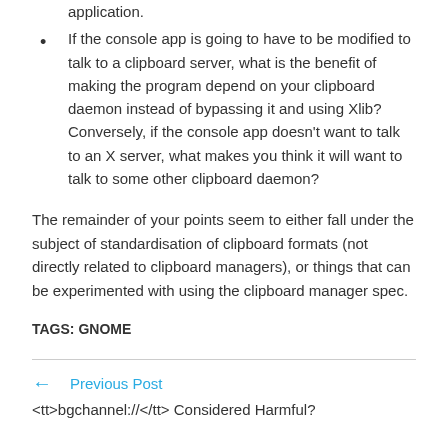application.
If the console app is going to have to be modified to talk to a clipboard server, what is the benefit of making the program depend on your clipboard daemon instead of bypassing it and using Xlib? Conversely, if the console app doesn’t want to talk to an X server, what makes you think it will want to talk to some other clipboard daemon?
The remainder of your points seem to either fall under the subject of standardisation of clipboard formats (not directly related to clipboard managers), or things that can be experimented with using the clipboard manager spec.
TAGS: GNOME
←  Previous Post
<tt>bgchannel://</tt> Considered Harmful?